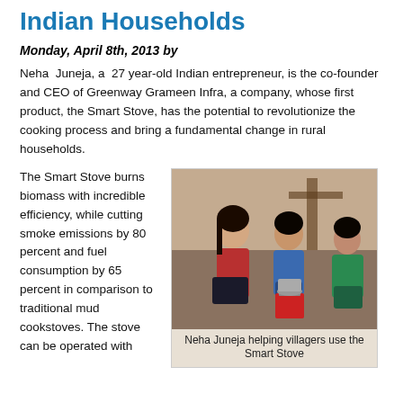Indian Households
Monday, April 8th, 2013 by
Neha Juneja, a 27 year-old Indian entrepreneur, is the co-founder and CEO of Greenway Grameen Infra, a company, whose first product, the Smart Stove, has the potential to revolutionize the cooking process and bring a fundamental change in rural households.
The Smart Stove burns biomass with incredible efficiency, while cutting smoke emissions by 80 percent and fuel consumption by 65 percent in comparison to traditional mud cookstoves. The stove can be operated with
[Figure (photo): Neha Juneja helping villagers use the Smart Stove — three people crouching outdoors, one woman in red top and two others, with a red Smart Stove on the ground.]
Neha Juneja helping villagers use the Smart Stove